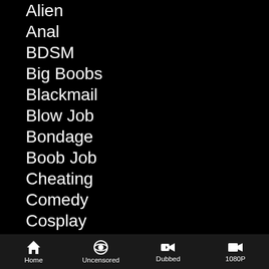Alien
Anal
BDSM
Big Boobs
Blackmail
Blow Job
Bondage
Boob Job
Cheating
Comedy
Cosplay
Creampie
Dark Skin
Deep Throat
Home  Uncensored  Dubbed  1080P